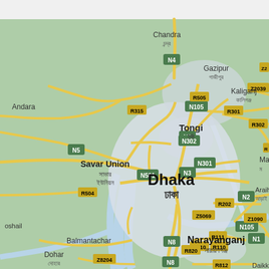[Figure (map): Google Maps style road map centered on Dhaka, Bangladesh. Shows the city of Dhaka (ঢাকা) prominently in the center, with surrounding areas including Tongi (টঙ্গী) to the north, Gazipur (গাজীপুর) to the northeast, Kaliganj (কালিগঞ্জ) to the east, Narayanganj (নারায়ণগঞ্জ) to the south, Savar Union (সাভার ইউনিয়ন) to the west, Chandra (চন্দ্র) to the northwest, and Balmantachar and Dohar (দোহার) to the southwest. Road network shown with labeled highways including N3, N4, N5, N8, N105, N301, N302, N501, R111, R202, R301, R302, R315, R504, R505, R810, R812, R820, Z1090, Z2039, Z5069, Z8204. The urban areas of Dhaka and surrounding cities shown in light gray. Background terrain in muted green. Rivers shown in light blue.]